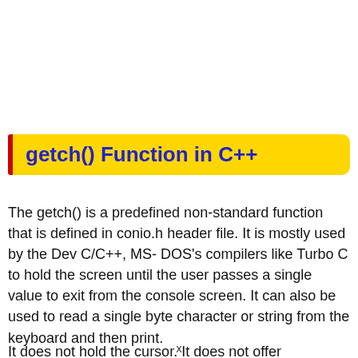getch() Function in C++
The getch() is a predefined non-standard function that is defined in conio.h header file. It is mostly used by the Dev C/C++, MS- DOS's compilers like Turbo C to hold the screen until the user passes a single value to exit from the console screen. It can also be used to read a single byte character or string from the keyboard and then print.
x